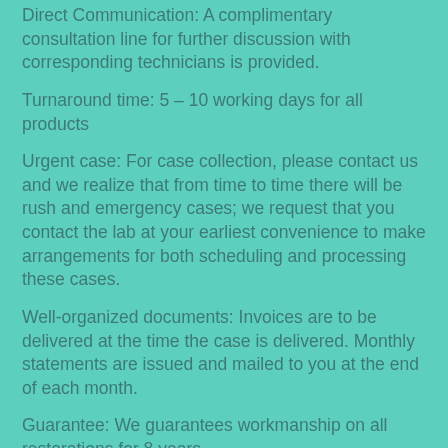Direct Communication: A complimentary consultation line for further discussion with corresponding technicians is provided.
Turnaround time: 5 – 10 working days for all products
Urgent case: For case collection, please contact us and we realize that from time to time there will be rush and emergency cases; we request that you contact the lab at your earliest convenience to make arrangements for both scheduling and processing these cases.
Well-organized documents: Invoices are to be delivered at the time the case is delivered. Monthly statements are issued and mailed to you at the end of each month.
Guarantee: We guarantees workmanship on all restorations for 8 years.
Cautions: All accounts are payable within 30 days of the statement date, typically the last business day of the month. Balances not paid within the 30 days